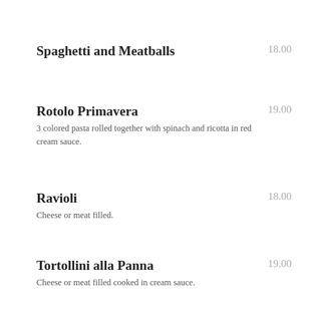Spaghetti and Meatballs  18.00
Rotolo Primavera  19.00
3 colored pasta rolled together with spinach and ricotta in red cream sauce.
Ravioli  18.00
Cheese or meat filled.
Tortollini alla Panna  19.00
Cheese or meat filled cooked in cream sauce.